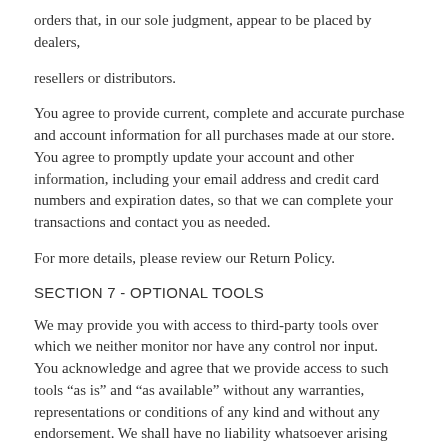orders that, in our sole judgment, appear to be placed by dealers,
resellers or distributors.
You agree to provide current, complete and accurate purchase and account information for all purchases made at our store. You agree to promptly update your account and other information, including your email address and credit card numbers and expiration dates, so that we can complete your transactions and contact you as needed.
For more details, please review our Return Policy.
SECTION 7 - OPTIONAL TOOLS
We may provide you with access to third-party tools over which we neither monitor nor have any control nor input.
You acknowledge and agree that we provide access to such tools “as is” and “as available” without any warranties, representations or conditions of any kind and without any endorsement. We shall have no liability whatsoever arising from or relating to your use of optional third-party tools.
Any use by you of optional tools offered through the site is